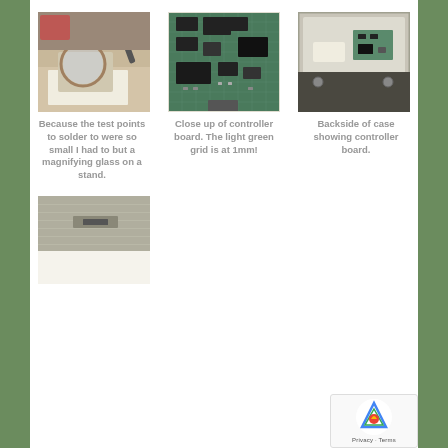[Figure (photo): Person soldering small test points on a circuit board using a magnifying glass on a stand]
[Figure (photo): Close up of a green controller circuit board with 1mm light green grid visible]
[Figure (photo): Backside of a white device case showing the controller board mounted inside]
Because the test points to solder to were so small I had to but a magnifying glass on a stand.
Close up of controller board. The light green grid is at 1mm!
Backside of case showing controller board.
[Figure (photo): Photo of a flat metal/silver panel or board component, partially shown]